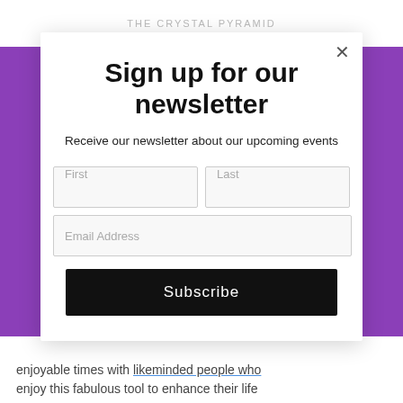THE CRYSTAL PYRAMID
Sign up for our newsletter
Receive our newsletter about our upcoming events
First
Last
Email Address
Subscribe
enjoyable times with likeminded people who enjoy this fabulous tool to enhance their life